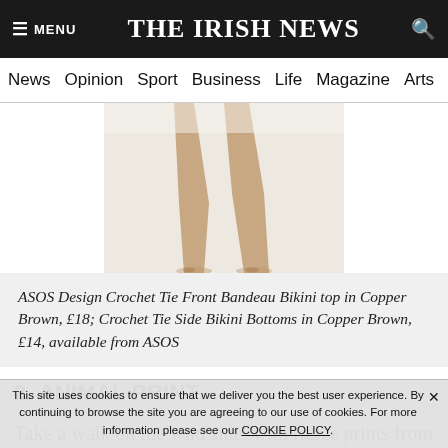MENU  THE IRISH NEWS  🔍
News  Opinion  Sport  Business  Life  Magazine  Arts
[Figure (photo): Lower legs and feet of a model wearing a crochet bikini, on a white background]
ASOS Design Crochet Tie Front Bandeau Bikini top in Copper Brown, £18; Crochet Tie Side Bikini Bottoms in Copper Brown, £14, available from ASOS
2. ANIMAL PRINT
Take a walk on the wild side, with fierce prints from cheetah to zebra. Go with your animal instinct when it comes to choosing a safari-inspired theme, or mix it up with clashing prints.
This site uses cookies to ensure that we deliver you the best user experience. By continuing to browse the site you are agreeing to our use of cookies. For more information please see our COOKIE POLICY.